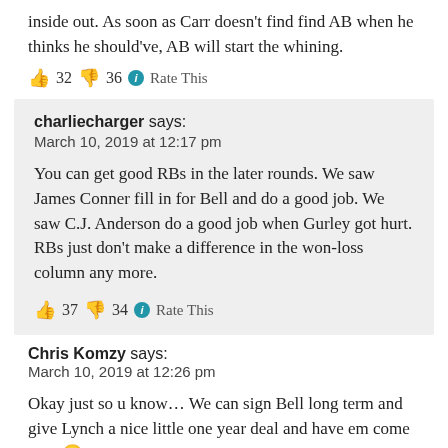inside out. As soon as Carr doesn't find find AB when he thinks he should've, AB will start the whining.
👍 32 👎 36 ℹ Rate This
charliecharger says:
March 10, 2019 at 12:17 pm

You can get good RBs in the later rounds. We saw James Conner fill in for Bell and do a good job. We saw C.J. Anderson do a good job when Gurley got hurt. RBs just don't make a difference in the won-loss column any more.
👍 37 👎 34 ℹ Rate This
Chris Komzy says:
March 10, 2019 at 12:26 pm

Okay just so u know… We can sign Bell long term and give Lynch a nice little one year deal and have em come over 🙂